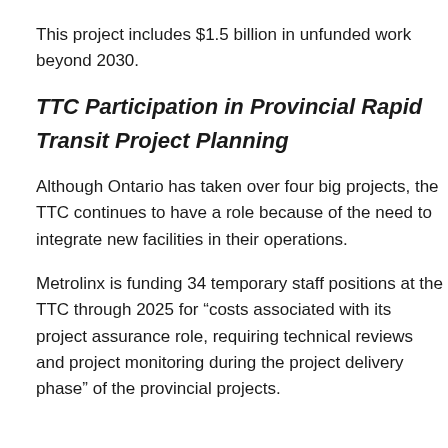This project includes $1.5 billion in unfunded work beyond 2030.
TTC Participation in Provincial Rapid Transit Project Planning
Although Ontario has taken over four big projects, the TTC continues to have a role because of the need to integrate new facilities in their operations.
Metrolinx is funding 34 temporary staff positions at the TTC through 2025 for “costs associated with its project assurance role, requiring technical reviews and project monitoring during the project delivery phase” of the provincial projects.